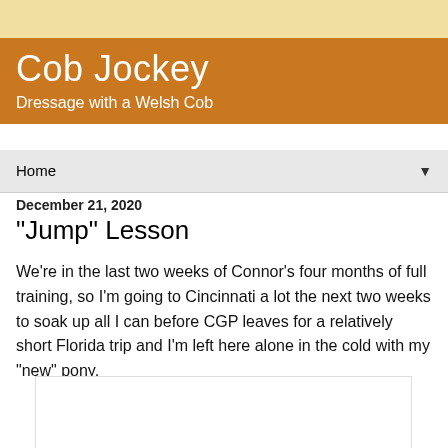Cob Jockey
Dressage with a Welsh Cob
Home
December 21, 2020
"Jump" Lesson
We're in the last two weeks of Connor's four months of full training, so I'm going to Cincinnati a lot the next two weeks to soak up all I can before CGP leaves for a relatively short Florida trip and I'm left here alone in the cold with my "new" pony.
[Figure (photo): Partially visible photo placeholder at bottom of page]